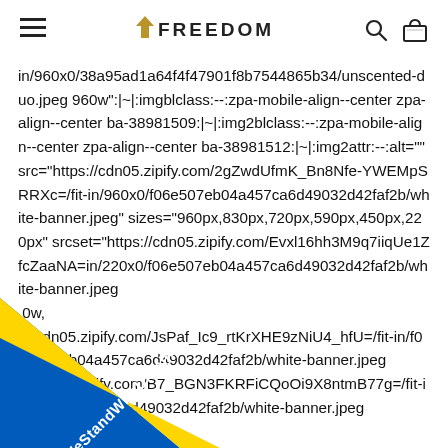FREEDOM (with hamburger menu, search icon, and bag icon)
in/960x0/38a95ad1a64f4f47901f8b7544865b34/unscented-duo.jpeg 960w":|~|:imgblclass:--:zpa-mobile-align--center zpa-align--center ba-38981509:|~|:img2blclass:--:zpa-mobile-align--center zpa-align--center ba-38981512:|~|:img2attr:--:alt="" src="https://cdn05.zipify.com/2gZwdUfmK_Bn8Nfe-YWEMpSRRXc=/fit-in/960x0/f06e507eb04a457ca6d49032d42faf2b/white-banner.jpeg" sizes="960px,830px,720px,590px,450px,220px" srcset="https://cdn05.zipify.com/Evxl16hh3M9q7iiqUe1ZfcZaaNA=in/220x0/f06e507eb04a457ca6d49032d42faf2b/white-banner.jpeg 0w, //cdn05.zipify.com/JsPaf_Ic9_rtKrXHE9zNiU4_hfU=/fit-in/f06e507eb04a457ca6d49032d42faf2b/white-banner.jpeg //cdn05.zipify.com/B7_BGN3FKRFiCQoOi9X8ntmB77g=/fit-in/ 4a457ca6d49032d42faf2b/white-banner.jpeg
[Figure (illustration): #WeStandWithUkraine banner ribbon in blue and yellow diagonal stripe at bottom-left corner]